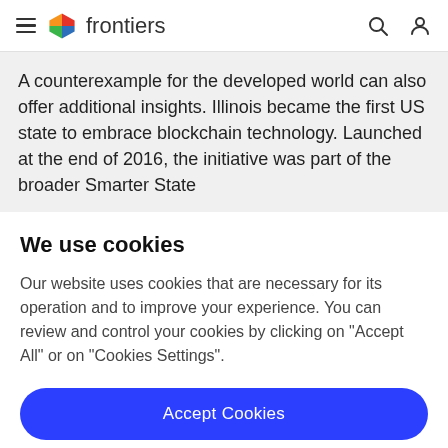frontiers
A counterexample for the developed world can also offer additional insights. Illinois became the first US state to embrace blockchain technology. Launched at the end of 2016, the initiative was part of the broader Smarter State
We use cookies
Our website uses cookies that are necessary for its operation and to improve your experience. You can review and control your cookies by clicking on "Accept All" or on "Cookies Settings".
Accept Cookies
Cookies Settings